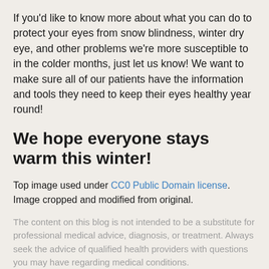If you'd like to know more about what you can do to protect your eyes from snow blindness, winter dry eye, and other problems we're more susceptible to in the colder months, just let us know! We want to make sure all of our patients have the information and tools they need to keep their eyes healthy year round!
We hope everyone stays warm this winter!
Top image used under CC0 Public Domain license. Image cropped and modified from original.
The content on this blog is not intended to be a substitute for professional medical advice, diagnosis, or treatment. Always seek the advice of qualified health providers with questions you may have regarding medical conditions.